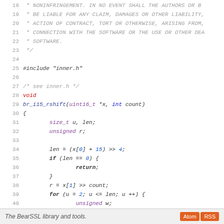[Figure (screenshot): Source code viewer showing C code for br_i15_rshift function from BearSSL library, lines 18-47, with syntax highlighting: keywords in red/blue, numbers in blue, comments in gray]
The BearSSL library and tools.  Atom  RSS